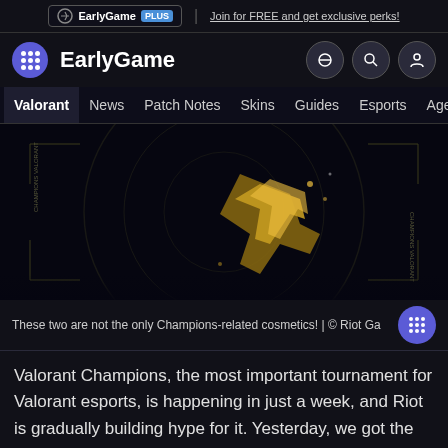EarlyGame PLUS | Join for FREE and get exclusive perks!
EarlyGame
Valorant | News | Patch Notes | Skins | Guides | Esports | Agents
[Figure (screenshot): Dark hero image of Valorant Champions-related weapon skin against dark background with circular design elements]
These two are not the only Champions-related cosmetics! | © Riot Ga
Valorant Champions, the most important tournament for Valorant esports, is happening in just a week, and Riot is gradually building hype for it. Yesterday, we got the tournament anthem, and today, we got a bundle